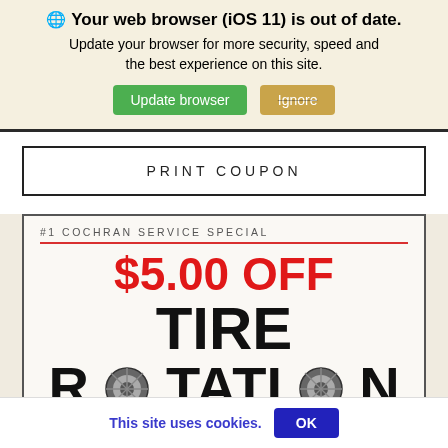🌐 Your web browser (iOS 11) is out of date. Update your browser for more security, speed and the best experience on this site.
Update browser
Ignore
PRINT COUPON
#1 COCHRAN SERVICE SPECIAL
$5.00 OFF TIRE ROTATION
This site uses cookies.
OK